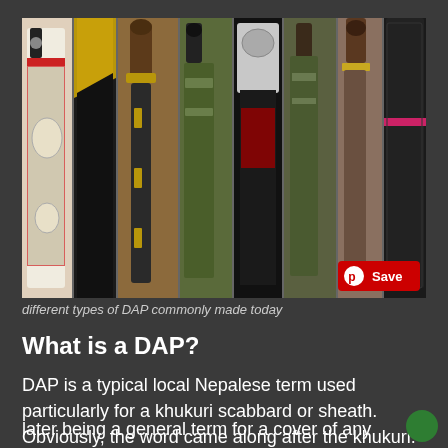[Figure (photo): Collage of different types of DAP (khukuri scabbards/sheaths) commonly made today, showing various knives with their sheaths in black, green, and decorated styles. A red Pinterest 'Save' button is visible in the bottom-right corner of the image.]
different types of DAP commonly made today
What is a DAP?
DAP is a typical local Nepalese term used particularly for a khukuri scabbard or sheath. Obviously, the word came along after the khukuri. It is pronounced as "da-ap" and is a noun. Many people also call it "DAB" or simply "KHOL", the later being a general term for a cover of any...